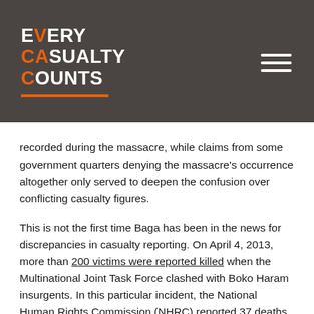EVERY CASUALTY COUNTS
recorded during the massacre, while claims from some government quarters denying the massacre's occurrence altogether only served to deepen the confusion over conflicting casualty figures.
This is not the first time Baga has been in the news for discrepancies in casualty reporting. On April 4, 2013, more than 200 victims were reported killed when the Multinational Joint Task Force clashed with Boko Haram insurgents. In this particular incident, the National Human Rights Commission (NHRC) reported 37 deaths while national newspapers reported casualty figures that ranged from 185 to 230 fatalities. In response to these conflicting reports the National Assembly set up a 28-man